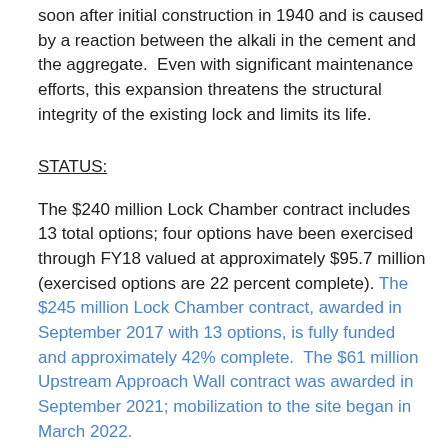soon after initial construction in 1940 and is caused by a reaction between the alkali in the cement and the aggregate.  Even with significant maintenance efforts, this expansion threatens the structural integrity of the existing lock and limits its life.
STATUS:
The $240 million Lock Chamber contract includes 13 total options; four options have been exercised through FY18 valued at approximately $95.7 million (exercised options are 22 percent complete). The $245 million Lock Chamber contract, awarded in September 2017 with 13 options, is fully funded and approximately 42% complete.  The $61 million Upstream Approach Wall contract was awarded in September 2021; mobilization to the site began in March 2022.
Our host for the tour:
Adam Walker, P.E., PMP
Project Manager, Chickamauga Lock Replacement